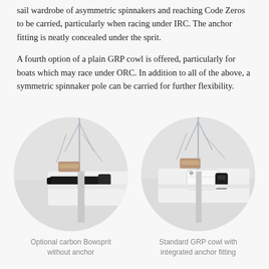sail wardrobe of asymmetric spinnakers and reaching Code Zeros to be carried, particularly when racing under IRC. The anchor fitting is neatly concealed under the sprit.
A fourth option of a plain GRP cowl is offered, particularly for boats which may race under ORC. In addition to all of the above, a symmetric spinnaker pole can be carried for further flexibility.
[Figure (photo): Optional carbon Bowsprit without anchor — close-up circular photo of a dark carbon bowsprit attached to a white boat hull, with rigging visible above]
Optional carbon Bowsprit without anchor
[Figure (photo): Standard GRP cowl with integrated anchor fitting — close-up circular photo of a white GRP cowl on a white boat hull with anchor fitting and rigging visible]
Standard GRP cowl with integrated anchor fitting